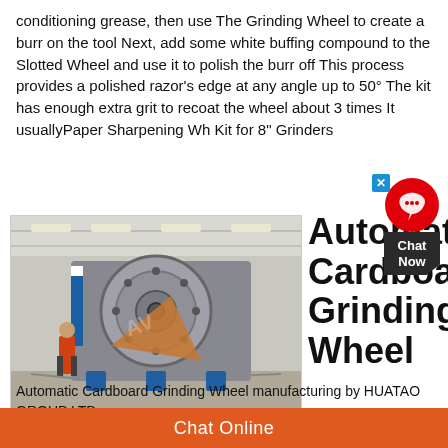conditioning grease, then use The Grinding Wheel to create a burr on the tool Next, add some white buffing compound to the Slotted Wheel and use it to polish the burr off This process provides a polished razor's edge at any angle up to 50° The kit has enough extra grit to recoat the wheel about 3 times It usuallyPaper Sharpening Wh Kit for 8" Grinders
[Figure (photo): Large industrial grinding wheel machinery in a factory setting, with a worker in orange vest standing next to it. Machine has large circular components and blue base supports.]
Automatic Cardboard Grinding Wheel
Automatic Cardboard Grinding Wheel manufacturing by HUATAO GROUP LTD; Product details of China Automatic Cardboard Grinding...
Chat Online